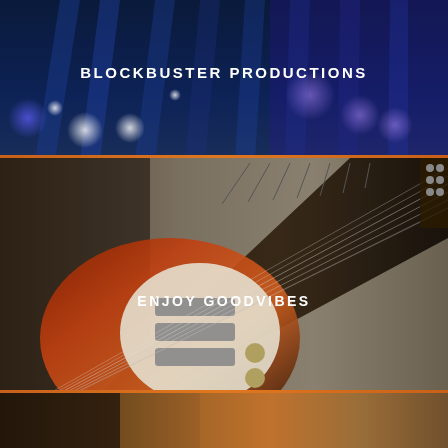[Figure (photo): Stage concert lighting with blue and purple bokeh light beams forming top banner section]
BLOCKBUSTER PRODUCTIONS
[Figure (photo): Electric sunburst Stratocaster guitar on grey-brown gradient background forming middle section]
ENJOY GOODVIBES
[Figure (photo): Bottom section showing blurred amber/brown gradient background, continuation of guitar scene]